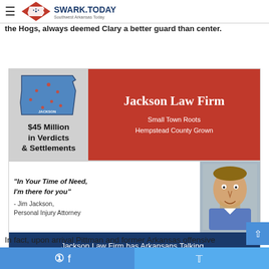SWARK.TODAY — Southwest Arkansas Today
Sam Pittman was Arkansas' offensive line coach from 2015-2018... entering his second season head-coaching the Hogs, always deemed Clary a better guard than center.
[Figure (infographic): Jackson Law Firm advertisement. Left panel: Arkansas state map with location markers and text '$45 Million in Verdicts & Settlements'. Top right: Red banner reading 'Jackson Law Firm' with tagline 'Small Town Roots Hempstead County Grown'. Middle right: Quote 'In Your Time of Need, I'm there for you' - Jim Jackson, Personal Injury Attorney, with photo of Jim Jackson. Bottom: Dark blue banner reading 'Jackson Law Firm has Arkansans Talking.. Click to hear more']
In fact, upon arrival Pittman and former Arkansas offensive
Facebook share | Twitter share